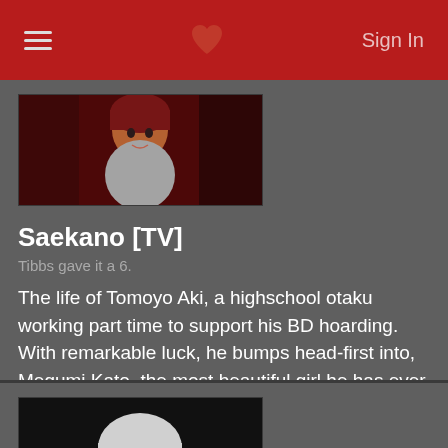Sign In
[Figure (illustration): Anime character thumbnail - reddish/orange toned female character]
Saekano [TV]
Tibbs gave it a 6.
The life of Tomoyo Aki, a highschool otaku working part time to support his BD hoarding. With remarkable luck, he bumps head-first into, Megumi Kato, the most beautiful girl he has ever seen.
248 users added this.
[Figure (illustration): Anime character thumbnail - white-haired character with mask and red eye (Tokyo Ghoul style)]